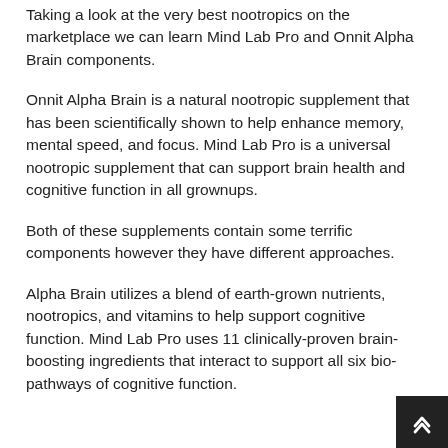Taking a look at the very best nootropics on the marketplace we can learn Mind Lab Pro and Onnit Alpha Brain components.
Onnit Alpha Brain is a natural nootropic supplement that has been scientifically shown to help enhance memory, mental speed, and focus. Mind Lab Pro is a universal nootropic supplement that can support brain health and cognitive function in all grownups.
Both of these supplements contain some terrific components however they have different approaches.
Alpha Brain utilizes a blend of earth-grown nutrients, nootropics, and vitamins to help support cognitive function. Mind Lab Pro uses 11 clinically-proven brain-boosting ingredients that interact to support all six bio-pathways of cognitive function.